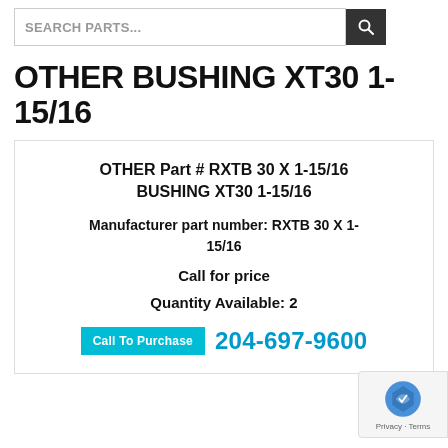SEARCH PARTS...
OTHER BUSHING XT30 1-15/16
OTHER Part # RXTB 30 X 1-15/16 BUSHING XT30 1-15/16
Manufacturer part number: RXTB 30 X 1-15/16
Call for price
Quantity Available: 2
Call To Purchase  204-697-9600